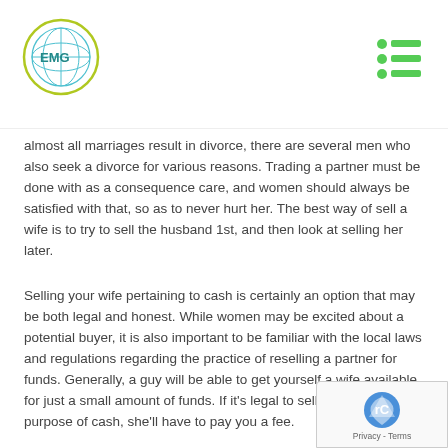EMG logo and navigation header
almost all marriages result in divorce, there are several men who also seek a divorce for various reasons. Trading a partner must be done with as a consequence care, and women should always be satisfied with that, so as to never hurt her. The best way of sell a wife is to try to sell the husband 1st, and then look at selling her later.
Selling your wife pertaining to cash is certainly an option that may be both legal and honest. While women may be excited about a potential buyer, it is also important to be familiar with the local laws and regulations regarding the practice of reselling a partner for funds. Generally, a guy will be able to get yourself a wife available for just a small amount of funds. If it's legal to sell a wife for the purpose of cash, she'll have to pay you a fee.
A woman can sell her wife to get a price. While marriage